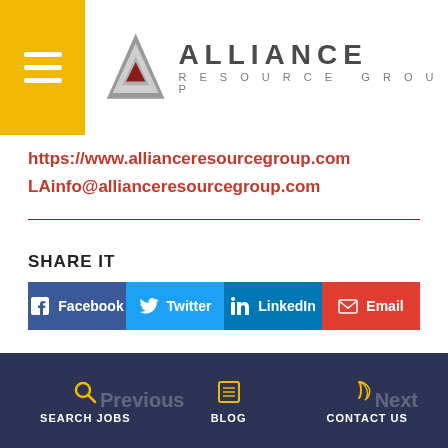[Figure (logo): Alliance Resource Group logo with hamburger menu icon on gold background, triangle logo mark, and company name text]
https://www.allianceresourcegroup.com
LAinfo@allianceresourcegroup.com
SHARE IT
[Figure (infographic): Share buttons row: Facebook (dark blue), Twitter (light blue), LinkedIn (medium blue), Email (red)]
HMG Admin
SEARCH JOBS | BLOG | CONTACT US